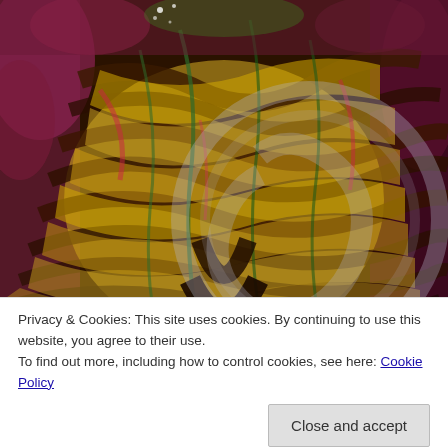[Figure (illustration): Colorful expressionist painting of a face/figure rendered with bold swirling strokes in yellow, orange, red, green, brown, and dark colors. A large circular watermark overlay is visible on the right side of the image.]
Privacy & Cookies: This site uses cookies. By continuing to use this website, you agree to their use.
To find out more, including how to control cookies, see here: Cookie Policy
Close and accept
Guernica's